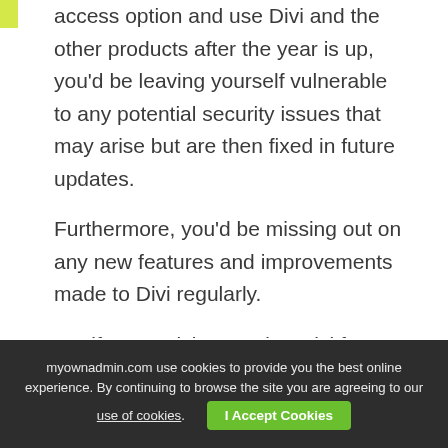access option and use Divi and the other products after the year is up, you'd be leaving yourself vulnerable to any potential security issues that may arise but are then fixed in future updates.
Furthermore, you'd be missing out on any new features and improvements made to Divi regularly.
So, if you anticipate using Divi for more than three years, it makes financial sense to invest in the $249-lifetime access right away.
myownadmin.com use cookies to provide you the best online experience. By continuing to browse the site you are agreeing to our use of cookies. I Accept Cookies